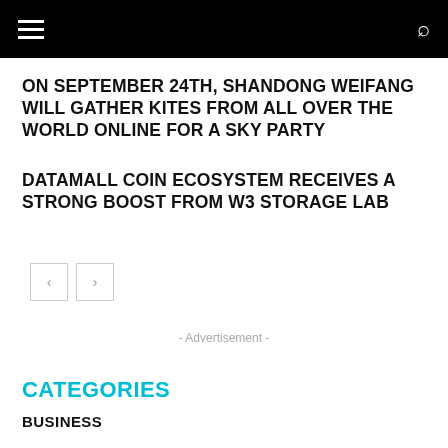ON SEPTEMBER 24TH, SHANDONG WEIFANG WILL GATHER KITES FROM ALL OVER THE WORLD ONLINE FOR A SKY PARTY
DATAMALL COIN ECOSYSTEM RECEIVES A STRONG BOOST FROM W3 STORAGE LAB
- Advertisement -
CATEGORIES
BUSINESS